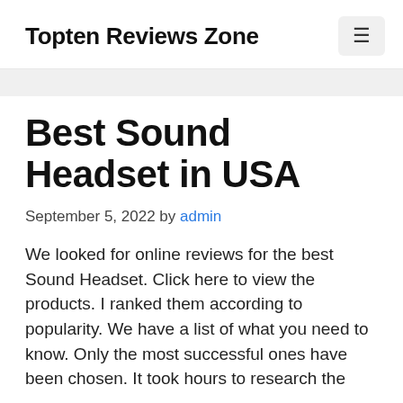Topten Reviews Zone
Best Sound Headset in USA
September 5, 2022 by admin
We looked for online reviews for the best Sound Headset. Click here to view the products. I ranked them according to popularity. We have a list of what you need to know. Only the most successful ones have been chosen. It took hours to research the